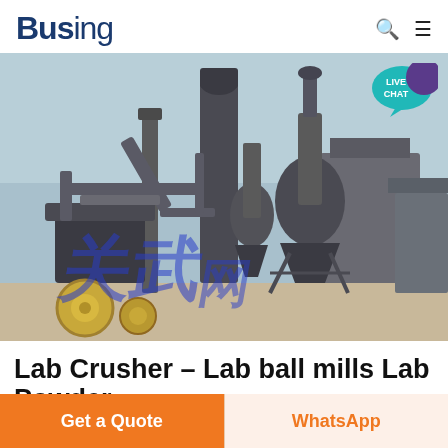Busing
[Figure (photo): Industrial ball mill / powder processing plant with large machinery, pipes, and silos outdoors. A LIVE CHAT badge with speech bubble icon is overlaid in the top-right corner. A blue watermark text appears in the lower portion of the image.]
Lab Crusher – Lab ball mills Lab Powder
Get a Quote
WhatsApp